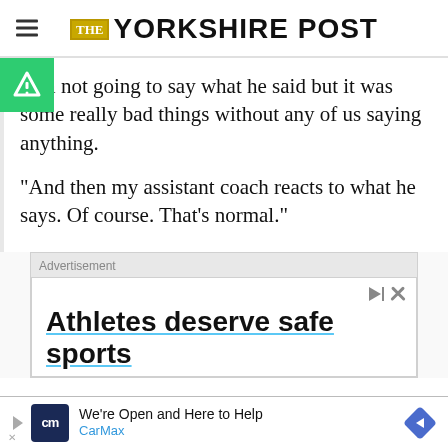THE YORKSHIRE POST
“I’m not going to say what he said but it was some really bad things without any of us saying anything.

“And then my assistant coach reacts to what he says. Of course. That’s normal.”
[Figure (other): Advertisement banner: 'Athletes deserve safe sports']
[Figure (other): Bottom advertisement: CarMax - We're Open and Here to Help]